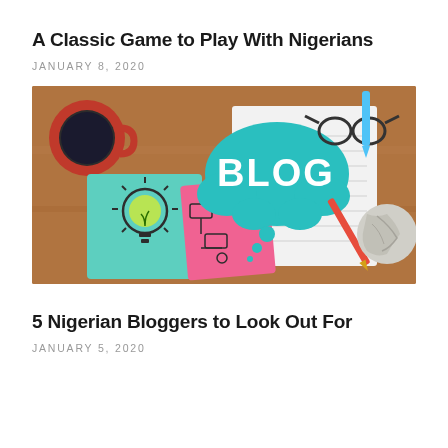A Classic Game to Play With Nigerians
JANUARY 8, 2020
[Figure (photo): Blog-themed flat lay photograph showing sticky notes with a lightbulb drawing, a teal thought-bubble with BLOG written in white letters, pink sticky note with a flowchart, a pencil, reading glasses, a crumpled paper ball, a red coffee mug, and a blue pen on a wooden desk surface.]
5 Nigerian Bloggers to Look Out For
JANUARY 5, 2020